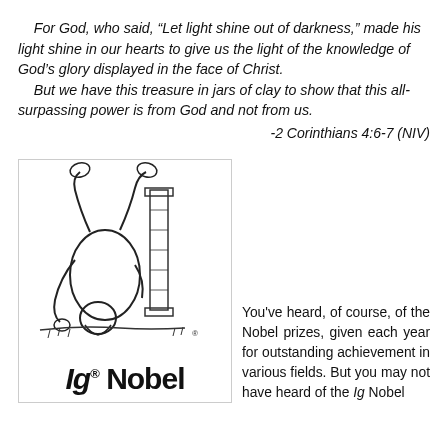For God, who said, “Let light shine out of darkness,” made his light shine in our hearts to give us the light of the knowledge of God’s glory displayed in the face of Christ.
    But we have this treasure in jars of clay to show that this all-surpassing power is from God and not from us.
-2 Corinthians 4:6-7 (NIV)
[Figure (illustration): Ig Nobel logo: a line drawing illustration of a person lying upside down next to a Greek/Roman column, with the text 'Ig Nobel' in bold black font below.]
You've heard, of course, of the Nobel prizes, given each year for outstanding achievement in various fields. But you may not have heard of the Ig Nobel